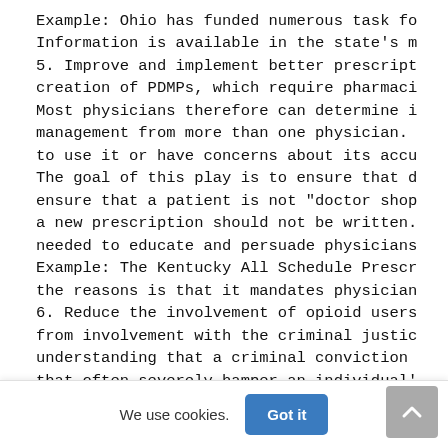Example: Ohio has funded numerous task fo
Information is available in the state's m
5. Improve and implement better prescript
creation of PDMPs, which require pharmaci
Most physicians therefore can determine i
management from more than one physician.
to use it or have concerns about its accu
The goal of this play is to ensure that d
ensure that a patient is not "doctor shop
a new prescription should not be written.
needed to educate and persuade physicians
Example: The Kentucky All Schedule Prescr
the reasons is that it mandates physician
6. Reduce the involvement of opioid users
from involvement with the criminal justic
understanding that a criminal conviction
that often severely hamper an individual'
We use cookies.
Got it